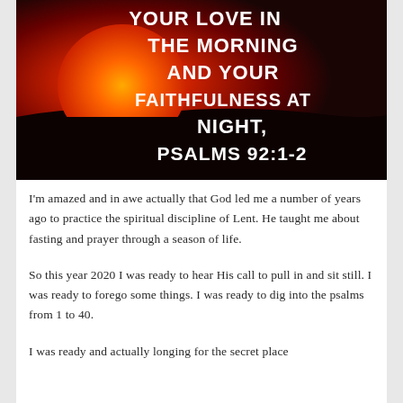[Figure (illustration): Sunrise/sunset image with large orange sun against dark sky, with white bold text overlay: 'YOUR LOVE IN THE MORNING AND YOUR FAITHFULNESS AT NIGHT, PSALMS 92:1-2']
I'm amazed and in awe actually that God led me a number of years ago to practice the spiritual discipline of Lent. He taught me about fasting and prayer through a season of life.
So this year 2020 I was ready to hear His call to pull in and sit still. I was ready to forego some things. I was ready to dig into the psalms from 1 to 40.
I was ready and actually longing for the secret place